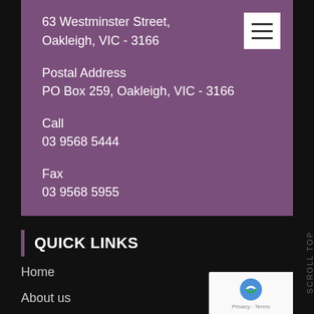63 Westminster Street, Oakleigh, VIC - 3166
Postal Address
PO Box 259, Oakleigh, VIC - 3166
Call
03 9568 5444
Fax
03 9568 5955
QUICK LINKS
Home
About us
Services